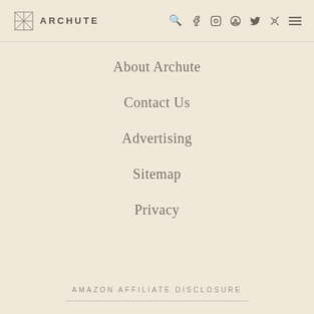ARCHUTE — navigation header with logo and social icons
About Archute
Contact Us
Advertising
Sitemap
Privacy
AMAZON AFFILIATE DISCLOSURE